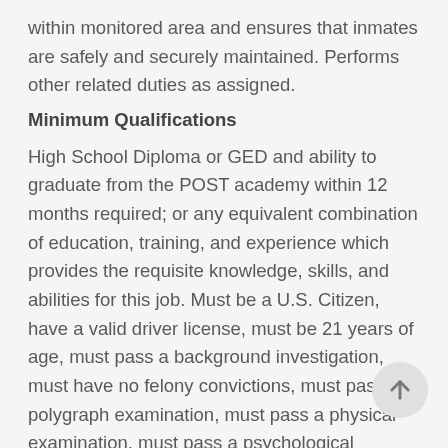within monitored area and ensures that inmates are safely and securely maintained. Performs other related duties as assigned.
Minimum Qualifications
High School Diploma or GED and ability to graduate from the POST academy within 12 months required; or any equivalent combination of education, training, and experience which provides the requisite knowledge, skills, and abilities for this job. Must be a U.S. Citizen, have a valid driver license, must be 21 years of age, must pass a background investigation, must have no felony convictions, must pass a polygraph examination, must pass a physical examination, must pass a psychological examination and must pass an oral interview board.